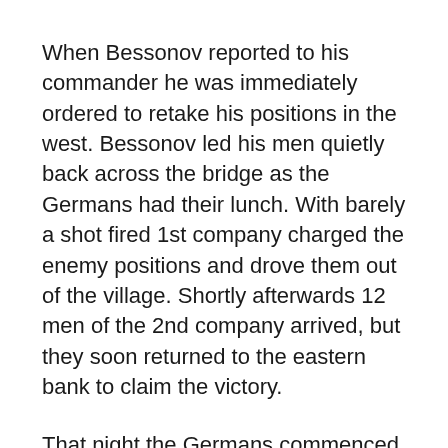When Bessonov reported to his commander he was immediately ordered to retake his positions in the west. Bessonov led his men quietly back across the bridge as the Germans had their lunch. With barely a shot fired 1st company charged the enemy positions and drove them out of the village. Shortly afterwards 12 men of the 2nd company arrived, but they soon returned to the eastern bank to claim the victory.
That night the Germans commenced a 20 minute mortar barrage before putting in an infantry assault. Bessonov's men could not hold them and once again withdrew to the eastern bank. This time they were allowed to stay.